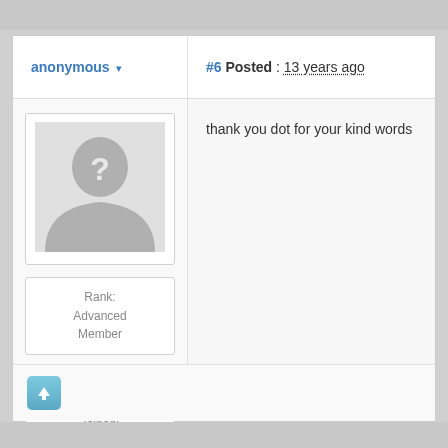anonymous
#6 Posted : 13 years ago
[Figure (illustration): Anonymous user avatar: gray silhouette of a person with a question mark on the face]
Rank:
Advanced Member
Groups: Registered
Joined: 1/08/2012(UTC)
Posts: 1,640
thank you dot for your kind words